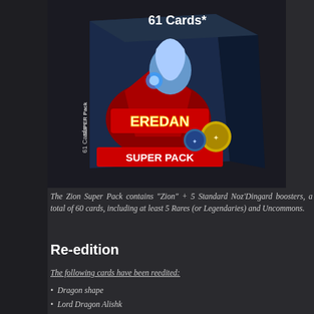[Figure (illustration): Eredan TCG Super Pack box artwork showing a fantasy character (unicorn/wizard figure) on the front, with '61 Cards*' text at the top and 'SUPER PACK' text at the bottom, blue and dark color scheme, with card game branding.]
The Zion Super Pack contains "Zion" + 5 Standard Noz'Dingard boosters, a total of 60 cards, including at least 5 Rares (or Legendaries) and Uncommons.
Re-edition
The following cards have been reedited:
Dragon shape
Lord Dragon Alishk